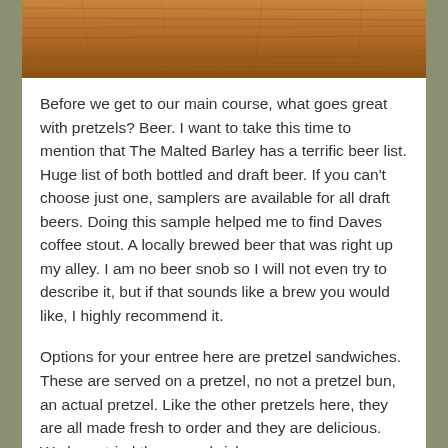[Figure (photo): Top portion of a wooden surface/table with warm brown wood grain texture, appearing to be a cropped photo.]
Before we get to our main course, what goes great with pretzels? Beer. I want to take this time to mention that The Malted Barley has a terrific beer list. Huge list of both bottled and draft beer. If you can't choose just one, samplers are available for all draft beers. Doing this sample helped me to find Daves coffee stout. A locally brewed beer that was right up my alley. I am no beer snob so I will not even try to describe it, but if that sounds like a brew you would like, I highly recommend it.
Options for your entree here are pretzel sandwiches. These are served on a pretzel, no not a pretzel bun, an actual pretzel. Like the other pretzels here, they are all made fresh to order and they are delicious.  We have tried three sandwiches